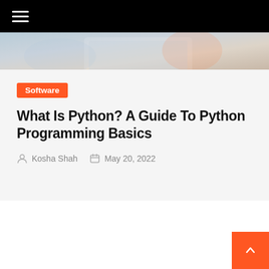Navigation menu
[Figure (photo): Hero image showing laptop/notebook with a colorful background, partially visible at top of article]
Software
What Is Python? A Guide To Python Programming Basics
Kosha Shah   May 20, 2022